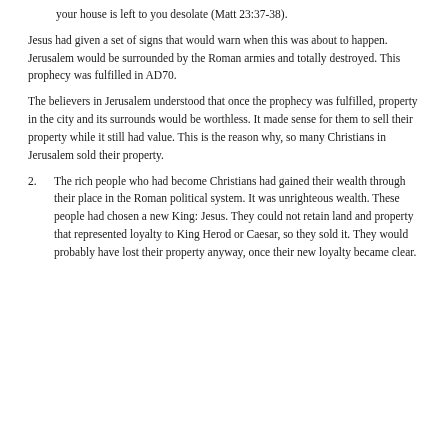your house is left to you desolate (Matt 23:37-38).
Jesus had given a set of signs that would warn when this was about to happen. Jerusalem would be surrounded by the Roman armies and totally destroyed. This prophecy was fulfilled in AD70.
The believers in Jerusalem understood that once the prophecy was fulfilled, property in the city and its surrounds would be worthless. It made sense for them to sell their property while it still had value. This is the reason why, so many Christians in Jerusalem sold their property.
2. The rich people who had become Christians had gained their wealth through their place in the Roman political system. It was unrighteous wealth. These people had chosen a new King: Jesus. They could not retain land and property that represented loyalty to King Herod or Caesar, so they sold it. They would probably have lost their property anyway, once their new loyalty became clear.